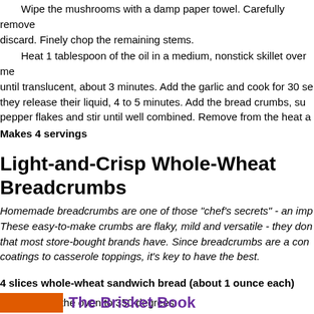Wipe the mushrooms with a damp paper towel. Carefully remove discard. Finely chop the remaining stems.
Heat 1 tablespoon of the oil in a medium, nonstick skillet over me until translucent, about 3 minutes. Add the garlic and cook for 30 se they release their liquid, 4 to 5 minutes. Add the bread crumbs, su pepper flakes and stir until well combined. Remove from the heat a
Makes 4 servings
Light-and-Crisp Whole-Wheat Breadcrumbs
Homemade breadcrumbs are one of those "chef's secrets" - an imp These easy-to-make crumbs are flaky, mild and versatile - they don that most store-bought brands have. Since breadcrumbs are a com coatings to casserole toppings, it's key to have the best.
4 slices whole-wheat sandwich bread (about 1 ounce each)
Preheat the oven to 350 degrees.
Place the bread in a food processor and process until fine crumb sheet, spreading them evenly. Bake until golden brown, about 12 m up to 2 weeks.
Makes 4 servings
The Brisket Book